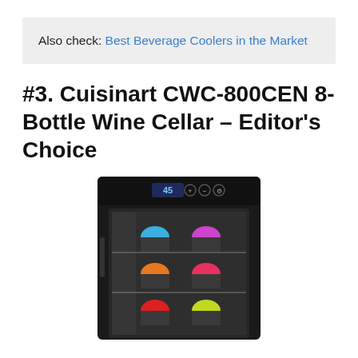Also check: Best Beverage Coolers in the Market
#3. Cuisinart CWC-800CEN 8-Bottle Wine Cellar – Editor's Choice
[Figure (photo): Cuisinart CWC-800CEN 8-Bottle Wine Cellar, a black compact wine cooler with a glass door showing 8 colorful wine bottles arranged on shelves, with a digital temperature display showing 45 degrees and touch controls at the top.]